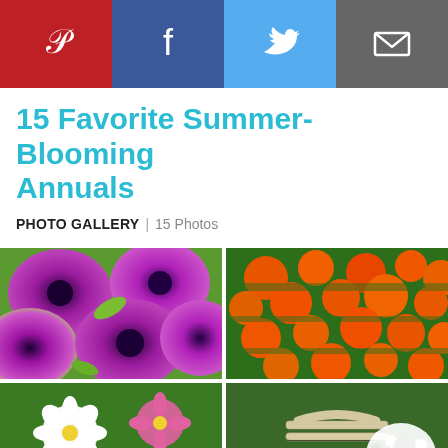[Figure (other): Social sharing bar with Pinterest (red), Facebook (blue), Twitter (light blue), and Email (gray) buttons with white icons]
15 Favorite Summer-Blooming Annuals
PHOTO GALLERY | 15 Photos
[Figure (photo): Close-up of purple/magenta petunias with dark centers and lime green edges]
[Figure (photo): Field of orange marigold flowers with green foliage]
[Figure (photo): Mixed cosmos flowers in white, pink and magenta]
[Figure (photo): White wooden garden bench next to a large potted white flowering shrub]